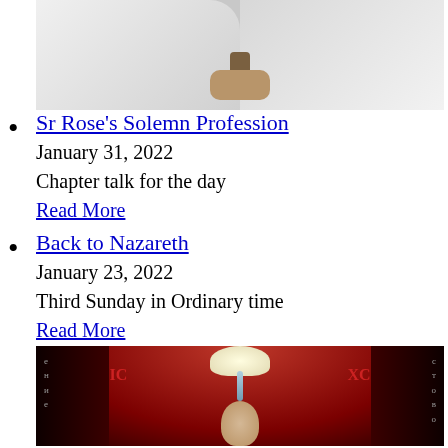[Figure (photo): Photo of two people in white robes, one holding a dark trophy or object]
Sr Rose's Solemn Profession
January 31, 2022
Chapter talk for the day
Read More
Back to Nazareth
January 23, 2022
Third Sunday in Ordinary time
Read More
[Figure (illustration): Religious icon painting of the Baptism of Christ with Cyrillic text ΙС ΧС, dove descending, red background]